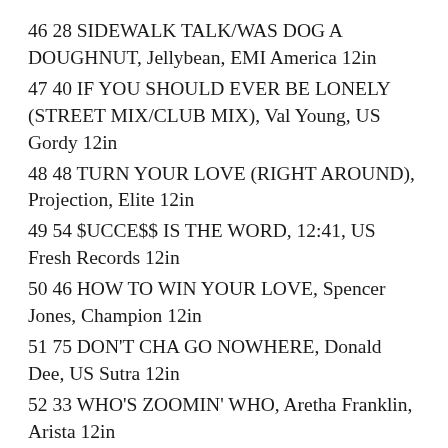46 28 SIDEWALK TALK/WAS DOG A DOUGHNUT, Jellybean, EMI America 12in
47 40 IF YOU SHOULD EVER BE LONELY (STREET MIX/CLUB MIX), Val Young, US Gordy 12in
48 48 TURN YOUR LOVE (RIGHT AROUND), Projection, Elite 12in
49 54 $UCCE$$ IS THE WORD, 12:41, US Fresh Records 12in
50 46 HOW TO WIN YOUR LOVE, Spencer Jones, Champion 12in
51 75 DON'T CHA GO NOWHERE, Donald Dee, US Sutra 12in
52 33 WHO'S ZOOMIN' WHO, Aretha Franklin, Arista 12in
53 — YOU NEED MORE CALYPSO (CLUB